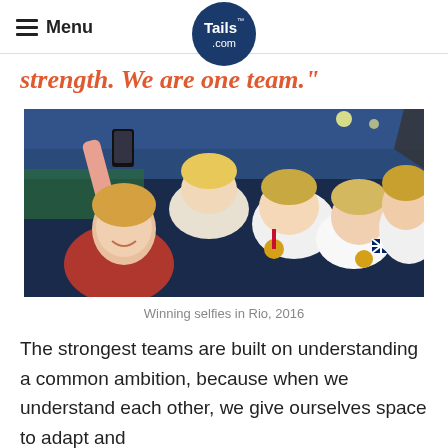Menu | Tails.com
strength. We are one team."
[Figure (photo): Group of female athletes in red and white uniforms taking a selfie while holding gold medals, at what appears to be the Rio 2016 Olympics, with stadium lights in the background.]
Winning selfies in Rio, 2016
The strongest teams are built on understanding a common ambition, because when we understand each other, we give ourselves space to adapt and